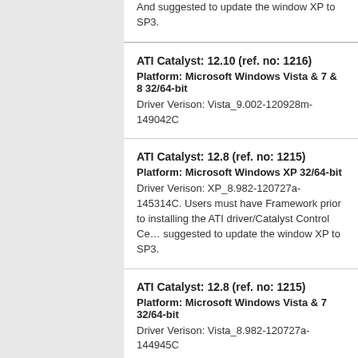And suggested to update the window XP to SP3.
ATI Catalyst: 12.10 (ref. no: 1216)
Platform: Microsoft Windows Vista & 7 & 8 32/64-bit
Driver Verison: Vista_9.002-120928m-149042C
ATI Catalyst: 12.8 (ref. no: 1215)
Platform: Microsoft Windows XP 32/64-bit
Driver Verison: XP_8.982-120727a-145314C. Users must have Framework prior to installing the ATI driver/Catalyst Control Center. suggested to update the window XP to SP3.
ATI Catalyst: 12.8 (ref. no: 1215)
Platform: Microsoft Windows Vista & 7 32/64-bit
Driver Verison: Vista_8.982-120727a-144945C
ATI Catalyst: 12.4 (ref. no: 1211)
Platform: Microsoft Windows XP 32/64-bit
Driver Verison: XP_8.961-120405a-137134C. Users must have Framework prior to installing the ATI driver/Catalyst Control Center. suggested to update the window XP to SP3.